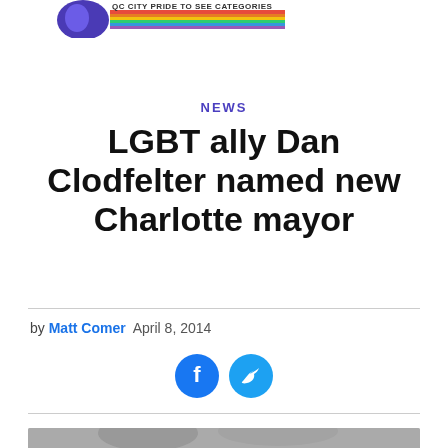[Figure (logo): News publication logo with rainbow bar text at top left]
NEWS
LGBT ally Dan Clodfelter named new Charlotte mayor
by Matt Comer   April 8, 2014
[Figure (other): Facebook and Twitter share icons]
[Figure (photo): Partial photo of people visible at bottom of page]